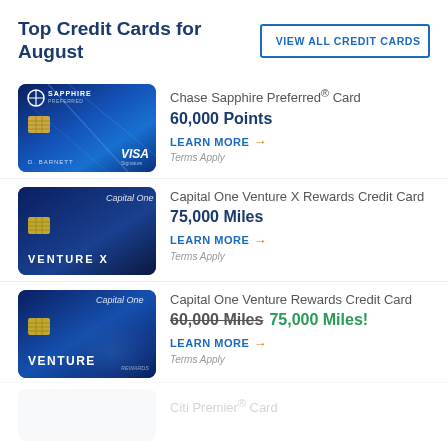Top Credit Cards for August
VIEW ALL CREDIT CARDS
[Figure (photo): Chase Sapphire Preferred credit card image - dark blue card with VISA logo]
Chase Sapphire Preferred® Card
60,000 Points
LEARN MORE →
Terms Apply
[Figure (photo): Capital One Venture X credit card image - dark blue card]
Capital One Venture X Rewards Credit Card
75,000 Miles
LEARN MORE →
Terms Apply
[Figure (photo): Capital One Venture credit card image - dark blue card with VENTURE logo]
Capital One Venture Rewards Credit Card
60,000 Miles  75,000 Miles!
LEARN MORE →
Terms Apply
Citi Premier® Card